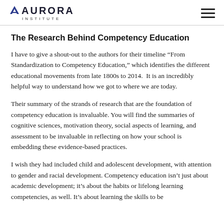AURORA INSTITUTE
The Research Behind Competency Education
I have to give a shout-out to the authors for their timeline “From Standardization to Competency Education,” which identifies the different educational movements from late 1800s to 2014.  It is an incredibly helpful way to understand how we got to where we are today.
Their summary of the strands of research that are the foundation of competency education is invaluable. You will find the summaries of cognitive sciences, motivation theory, social aspects of learning, and assessment to be invaluable in reflecting on how your school is embedding these evidence-based practices.
I wish they had included child and adolescent development, with attention to gender and racial development. Competency education isn’t just about academic development; it’s about the habits or lifelong learning competencies, as well. It’s about learning the skills to be